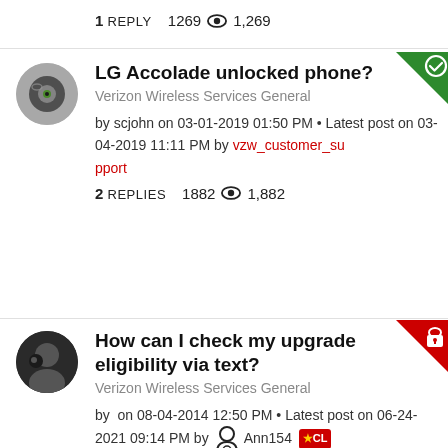1 REPLY  1269 👁 1,269
LG Accolade unlocked phone?
Verizon Wireless Services General
by scjohn on 03-01-2019 01:50 PM • Latest post on 03-04-2019 11:11 PM by vzw_customer_support
2 REPLIES  1882 👁 1,882
How can I check my upgrade eligibility via text?
Verizon Wireless Services General
by  on 08-04-2014 12:50 PM • Latest post on 06-24-2021 09:14 PM by Ann154 ★CL